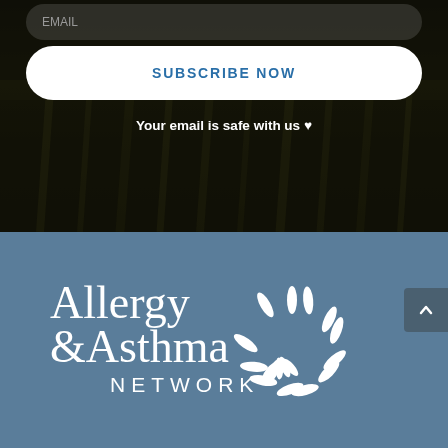[Figure (screenshot): Dark background with grass, showing a subscribe form with input bar and white rounded subscribe button]
Your email is safe with us ♥
[Figure (logo): Allergy & Asthma Network logo — white text on steel blue background with sunburst/petal graphic]
[Figure (other): Scroll to top button with upward caret arrow, dark gray on right edge]